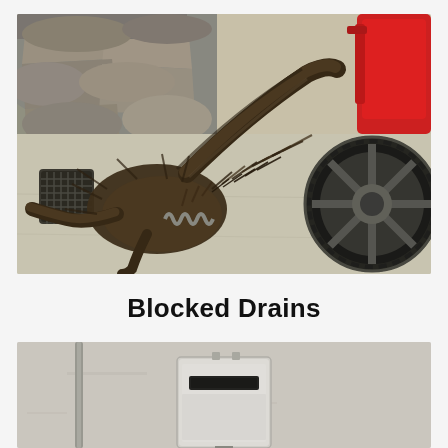[Figure (photo): Photo of a large clump of tree roots and debris removed from a blocked drain, laid out on a concrete surface. A plumber's electric eel drain clearing machine with a large wheel is visible in the background. A dark drain grate is visible on the left side.]
Blocked Drains
[Figure (photo): Photo of an outdoor gas hot water unit/heater mounted on a beige/grey rendered wall. The unit is white/silver coloured with a rectangular panel on the front.]